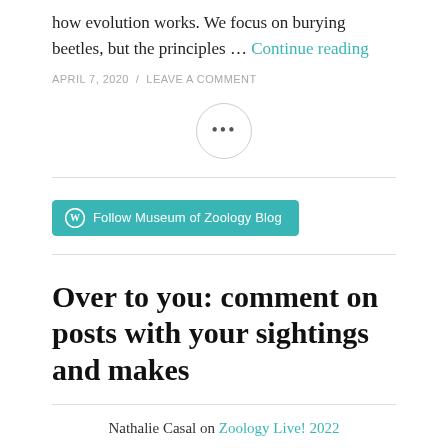how evolution works. We focus on burying beetles, but the principles … Continue reading
APRIL 7, 2020 / LEAVE A COMMENT
[Figure (other): Circle with ellipsis (three dots) menu button]
[Figure (other): Follow Museum of Zoology Blog button (WordPress style, teal background)]
Over to you: comment on posts with your sightings and makes
Nathalie Casal on Zoology Live! 2022